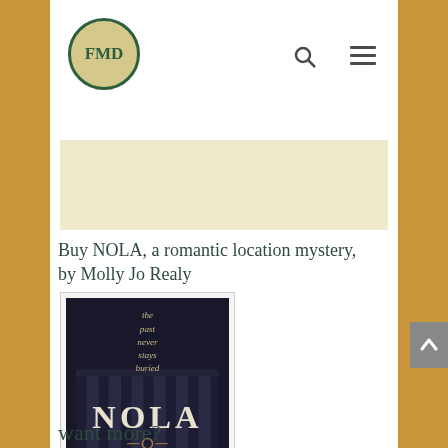FMD
Buy NOLA, a romantic location mystery, by Molly Jo Realy
[Figure (illustration): Book cover for NOLA by Molly Jo Realy. Dark blue/black background showing a building facade. Text reads: 'the past never stays buried' and 'NOLA' in large letters.]
NOLA, by Molly Jo Realy
want more?